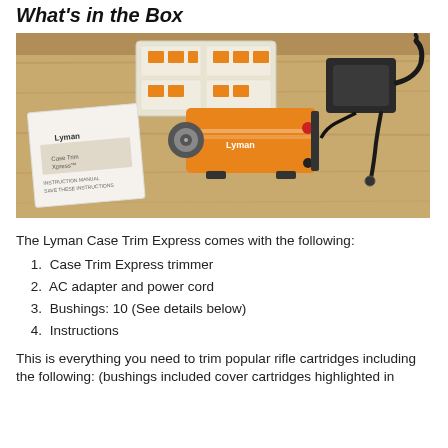What's in the Box
[Figure (photo): Photo of Lyman Case Trim Express trimmer kit laid out on a wooden surface, showing the orange trimmer unit, AC adapter with power cord, a small plastic parts box with bushings, and the instruction manual.]
The Lyman Case Trim Express comes with the following:
Case Trim Express trimmer
AC adapter and power cord
Bushings: 10 (See details below)
Instructions
This is everything you need to trim popular rifle cartridges including the following: (bushings included cover cartridges highlighted in